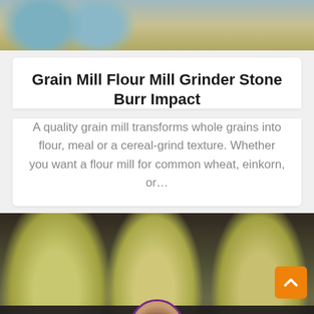[Figure (photo): Top portion of page showing industrial machinery equipment photo]
Grain Mill Flour Mill Grinder Stone Burr Impact
A quality grain mill transforms whole grains into flour, meal or a cereal-grind texture. Whether you want a flour mill for common wheat, einkorn, or…
[Figure (photo): Industrial milling machines in a factory with a worker in a red hard hat standing among large yellow cylindrical grinding mills]
Leave Message   Chat Online